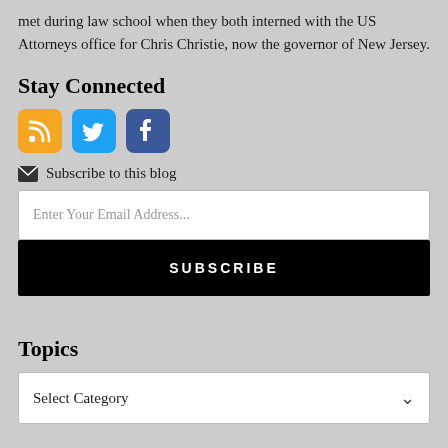met during law school when they both interned with the US Attorneys office for Chris Christie, now the governor of New Jersey.
Stay Connected
[Figure (other): Social media icons: RSS (orange), Twitter (blue), Facebook (dark blue)]
Subscribe to this blog
Enter Your Email Address...
SUBSCRIBE
Topics
Select Category